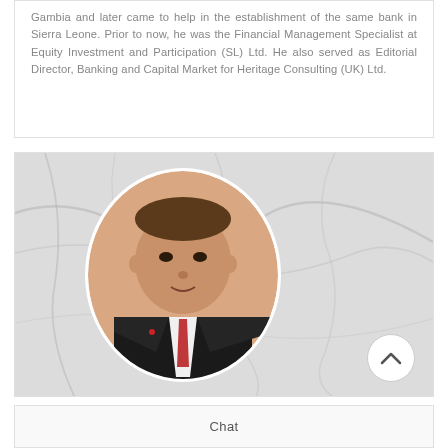Gambia and later came to help in the establishment of the same bank in Sierra Leone. Prior to now, he was the Financial Management Specialist at Equity Investment and Participation (SL) Ltd. He also served as Editorial Director, Banking and Capital Market for Heritage Consulting (UK) Ltd.
[Figure (photo): Professional headshot of a man in a dark suit and red tie, displayed in an oval frame against a marble background. A white circular scroll-up button is visible in the bottom right corner.]
Chat